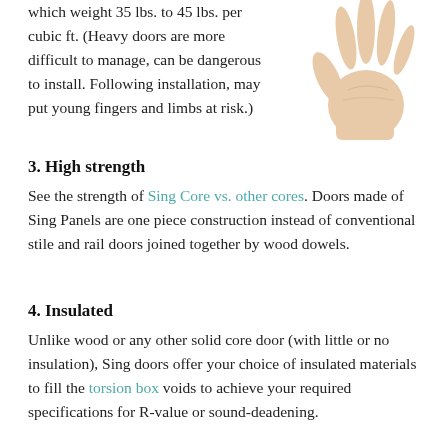which weight 35 lbs. to 45 lbs. per cubic ft. (Heavy doors are more difficult to manage, can be dangerous to install. Following installation, may put young fingers and limbs at risk.)
[Figure (photo): A human hand with palm facing outward, fingers spread, shown from the wrist up against a white background.]
3. High strength
See the strength of Sing Core vs. other cores. Doors made of Sing Panels are one piece construction instead of conventional stile and rail doors joined together by wood dowels.
4. Insulated
Unlike wood or any other solid core door (with little or no insulation), Sing doors offer your choice of insulated materials to fill the torsion box voids to achieve your required specifications for R-value or sound-deadening.